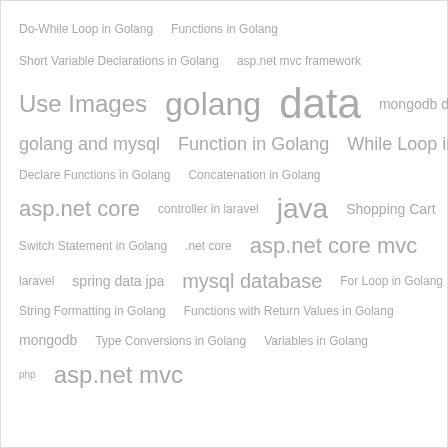[Figure (infographic): Tag cloud of programming and technology topics including Golang, asp.net, java, laravel, mongodb, mysql, spring data jpa, and others, displayed in varying font sizes indicating frequency/popularity.]
Do-While Loop in Golang
Functions in Golang
Short Variable Declarations in Golang
asp.net mvc framework
Use Images
golang
data
mongodb database
golang and mysql
Function in Golang
While Loop in Golang
Declare Functions in Golang
Concatenation in Golang
asp.net core
controller in laravel
java
Shopping Cart
Switch Statement in Golang
.net core
asp.net core mvc
laravel
spring data jpa
mysql database
For Loop in Golang
String Formatting in Golang
Functions with Return Values in Golang
mongodb
Type Conversions in Golang
Variables in Golang
php
asp.net mvc